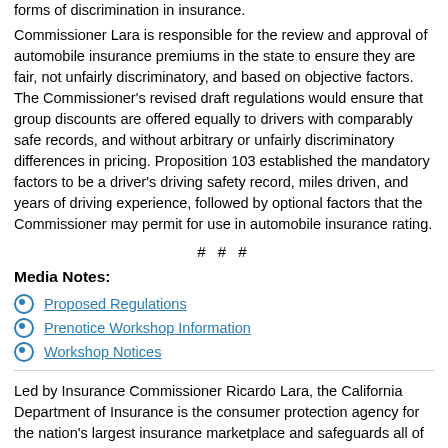forms of discrimination in insurance. Commissioner Lara is responsible for the review and approval of automobile insurance premiums in the state to ensure they are fair, not unfairly discriminatory, and based on objective factors. The Commissioner's revised draft regulations would ensure that group discounts are offered equally to drivers with comparably safe records, and without arbitrary or unfairly discriminatory differences in pricing. Proposition 103 established the mandatory factors to be a driver's driving safety record, miles driven, and years of driving experience, followed by optional factors that the Commissioner may permit for use in automobile insurance rating.
# # #
Media Notes:
Proposed Regulations
Prenotice Workshop Information
Workshop Notices
Led by Insurance Commissioner Ricardo Lara, the California Department of Insurance is the consumer protection agency for the nation's largest insurance marketplace and safeguards all of the state's consumers by fairly regulating the insurance industry. Under the Commissioner's direction, the Department uses its authority to